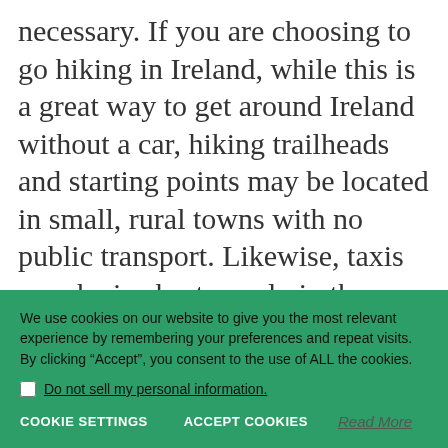necessary. If you are choosing to go hiking in Ireland, while this is a great way to get around Ireland without a car, hiking trailheads and starting points may be located in small, rural towns with no public transport. Likewise, taxis may be in short supply in these areas for reaching your starting point or for picking you up at
We use cookies on our website to give you the most relevant experience by remembering your preferences and repeat visits. By clicking “Accept”, you consent to the use of ALL the cookies.
Do not sell my personal information.
COOKIE SETTINGS    ACCEPT COOKIES    Read More